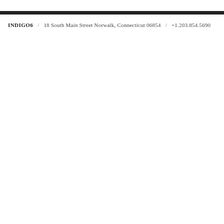INDIGO6 / 18 South Main Street Norwalk, Connecticut 06854 / +1.203.854.5690